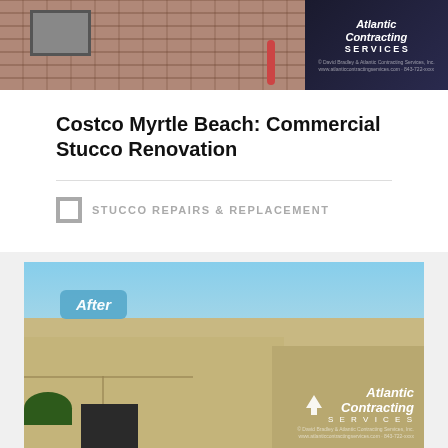[Figure (photo): Before photo of Costco Myrtle Beach building showing red brick/stucco facade with window and red pipe, Atlantic Contracting logo overlay in top right]
Costco Myrtle Beach: Commercial Stucco Renovation
STUCCO REPAIRS & REPLACEMENT
[Figure (photo): After photo of Costco Myrtle Beach building showing renovated tan/beige stucco exterior with large panel grooves, blue sky background, 'After' badge in top left, Atlantic Contracting logo in bottom right]